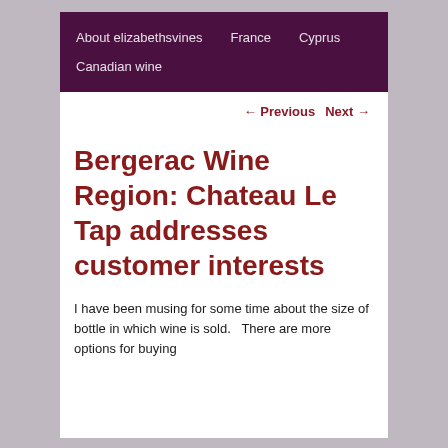About elizabethsvines   France   Cyprus   Canadian wine
← Previous   Next →
Bergerac Wine Region: Chateau Le Tap addresses customer interests
I have been musing for some time about the size of bottle in which wine is sold.   There are more options for buying